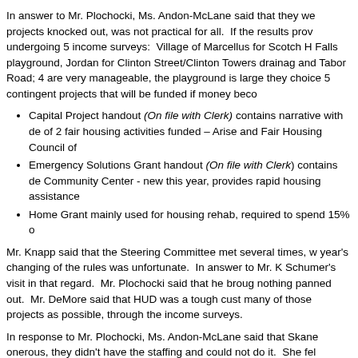In answer to Mr. Plochocki, Ms. Andon-McLane said that they we... projects knocked out, was not practical for all. If the results prov... undergoing 5 income surveys: Village of Marcellus for Scotch H... Falls playground, Jordan for Clinton Street/Clinton Towers drainage... and Tabor Road; 4 are very manageable, the playground is large... they choice 5 contingent projects that will be funded if money beco...
Capital Project handout (On file with Clerk) contains narrative with de... of 2 fair housing activities funded – Arise and Fair Housing Council of...
Emergency Solutions Grant handout (On file with Clerk) contains de... Community Center - new this year, provides rapid housing assistance...
Home Grant mainly used for housing rehab, required to spend 15% o...
Mr. Knapp said that the Steering Committee met several times, w... year's changing of the rules was unfortunate. In answer to Mr. K... Schumer's visit in that regard. Mr. Plochocki said that he broug... nothing panned out. Mr. DeMore said that HUD was a tough cust... many of those projects as possible, through the income surveys.
In response to Mr. Plochocki, Ms. Andon-McLane said that Skane... onerous, they didn't have the staffing and could not do it. She fel...
A motion was made by Mr. Knapp, seconded by Mr. Liedka to...
b. Amending the 2015 County Budget to Accept... Development for the Lead-Based Paint Hazard Control... Contracts to Implement this Resolution ($3,696,500)